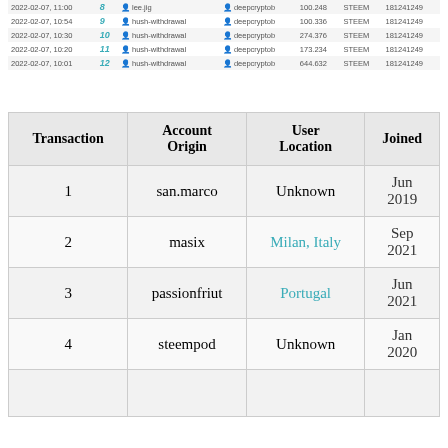|  |  | From | To | Amount | Token | Block |
| --- | --- | --- | --- | --- | --- | --- |
| 2022-02-07, 11:00 | 8 | lee.jig | deepcryptob | 100.248 | STEEM | 181241249 |
| 2022-02-07, 10:54 | 9 | hush-withdrawal | deepcryptob | 100.336 | STEEM | 181241249 |
| 2022-02-07, 10:30 | 10 | hush-withdrawal | deepcryptob | 274.376 | STEEM | 181241249 |
| 2022-02-07, 10:20 | 11 | hush-withdrawal | deepcryptob | 173.234 | STEEM | 181241249 |
| 2022-02-07, 10:01 | 12 | hush-withdrawal | deepcryptob | 644.632 | STEEM | 181241249 |
| Transaction | Account Origin | User Location | Joined |
| --- | --- | --- | --- |
| 1 | san.marco | Unknown | Jun 2019 |
| 2 | masix | Milan, Italy | Sep 2021 |
| 3 | passionfriut | Portugal | Jun 2021 |
| 4 | steempod | Unknown | Jan 2020 |